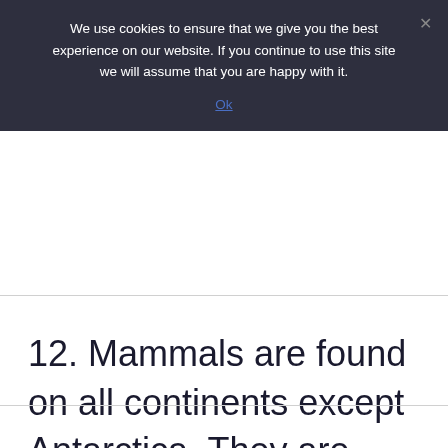We use cookies to ensure that we give you the best experience on our website. If you continue to use this site we will assume that you are happy with it.
Ok
12. Mammals are found on all continents except Antarctica. They are located in North America, South America, Europe, Asia, Africa, and Australia.